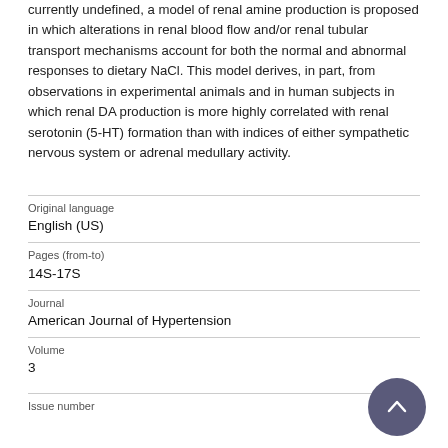currently undefined, a model of renal amine production is proposed in which alterations in renal blood flow and/or renal tubular transport mechanisms account for both the normal and abnormal responses to dietary NaCl. This model derives, in part, from observations in experimental animals and in human subjects in which renal DA production is more highly correlated with renal serotonin (5-HT) formation than with indices of either sympathetic nervous system or adrenal medullary activity.
| Original language | English (US) |
| Pages (from-to) | 14S-17S |
| Journal | American Journal of Hypertension |
| Volume | 3 |
| Issue number |  |